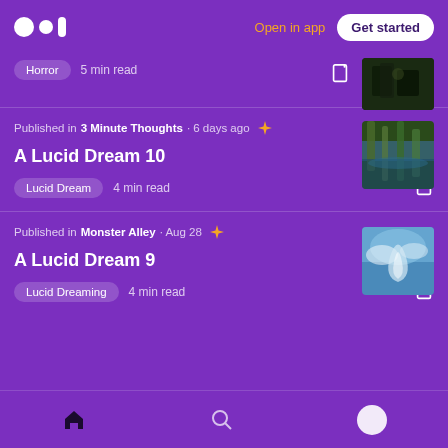Open in app  Get started
Horror  5 min read
Published in 3 Minute Thoughts · 6 days ago
A Lucid Dream 10
Lucid Dream  4 min read
Published in Monster Alley · Aug 28
A Lucid Dream 9
Lucid Dreaming  4 min read
Home  Search  Profile